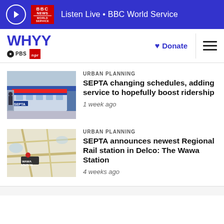Listen Live • BBC World Service
[Figure (logo): WHYY PBS NPR logo with Donate button and hamburger menu]
URBAN PLANNING
SEPTA changing schedules, adding service to hopefully boost ridership
1 week ago
[Figure (photo): Photo of a SEPTA train at a station platform with a person standing at the door]
URBAN PLANNING
SEPTA announces newest Regional Rail station in Delco: The Wawa Station
4 weeks ago
[Figure (map): Map showing the location of Wawa Station marked with a red pin label]